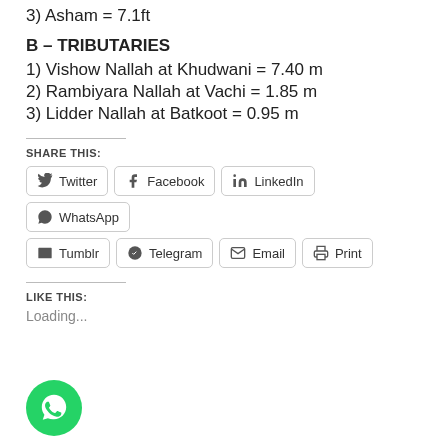3) Asham = 7.1ft
B – TRIBUTARIES
1) Vishow Nallah at Khudwani = 7.40 m
2) Rambiyara Nallah at Vachi = 1.85 m
3) Lidder Nallah at Batkoot = 0.95 m
SHARE THIS:
Twitter, Facebook, LinkedIn, WhatsApp, Tumblr, Telegram, Email, Print
LIKE THIS:
Loading...
[Figure (logo): WhatsApp floating action button — green circle with white phone/chat icon]